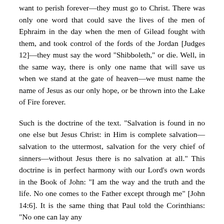want to perish forever—they must go to Christ. There was only one word that could save the lives of the men of Ephraim in the day when the men of Gilead fought with them, and took control of the fords of the Jordan [Judges 12]—they must say the word "Shibboleth," or die. Well, in the same way, there is only one name that will save us when we stand at the gate of heaven—we must name the name of Jesus as our only hope, or be thrown into the Lake of Fire forever.
Such is the doctrine of the text. "Salvation is found in no one else but Jesus Christ: in Him is complete salvation—salvation to the uttermost, salvation for the very chief of sinners—without Jesus there is no salvation at all." This doctrine is in perfect harmony with our Lord's own words in the Book of John: "I am the way and the truth and the life. No one comes to the Father except through me" [John 14:6]. It is the same thing that Paul told the Corinthians: "No one can lay any